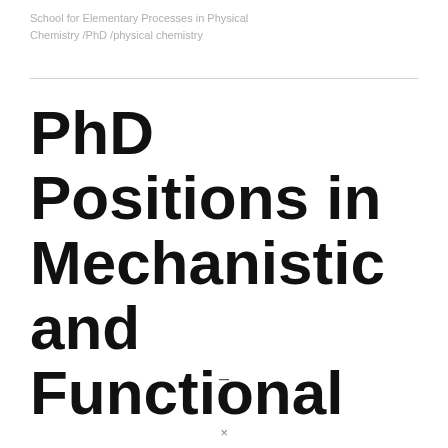School for Elementary Processes in Physical Chemistry /PhD /physical chemistry
PhD Positions in Mechanistic and Functional